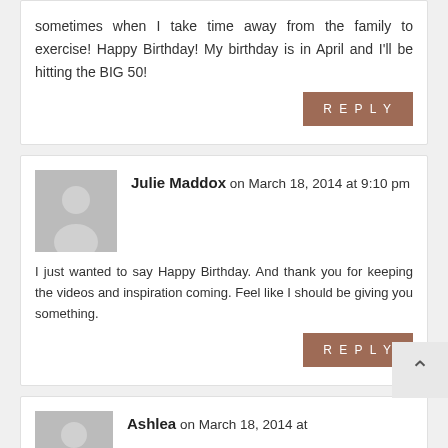sometimes when I take time away from the family to exercise! Happy Birthday! My birthday is in April and I'll be hitting the BIG 50!
REPLY
Julie Maddox on March 18, 2014 at 9:10 pm
I just wanted to say Happy Birthday. And thank you for keeping the videos and inspiration coming. Feel like I should be giving you something.
REPLY
Ashlea on March 18, 2014 at